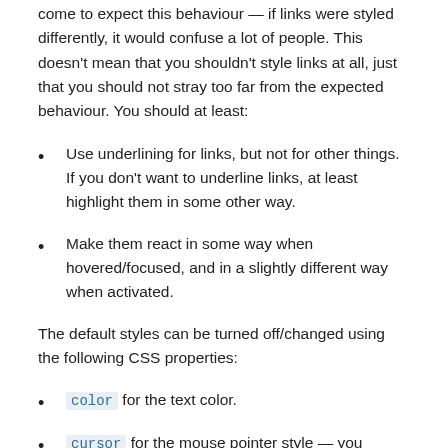come to expect this behaviour — if links were styled differently, it would confuse a lot of people. This doesn't mean that you shouldn't style links at all, just that you should not stray too far from the expected behaviour. You should at least:
Use underlining for links, but not for other things. If you don't want to underline links, at least highlight them in some other way.
Make them react in some way when hovered/focused, and in a slightly different way when activated.
The default styles can be turned off/changed using the following CSS properties:
color for the text color.
cursor for the mouse pointer style — you